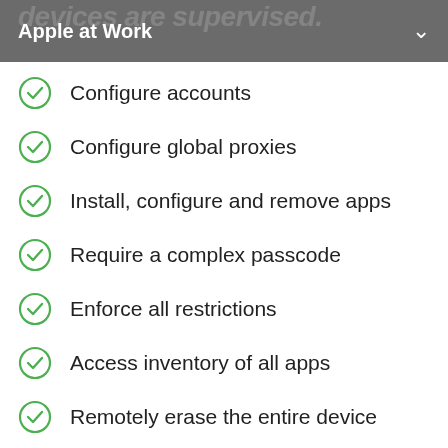Apple at Work
Configure accounts
Configure global proxies
Install, configure and remove apps
Require a complex passcode
Enforce all restrictions
Access inventory of all apps
Remotely erase the entire device
Manage software updates
Remove system apps
Modify the wallpaper
Lock into a single app